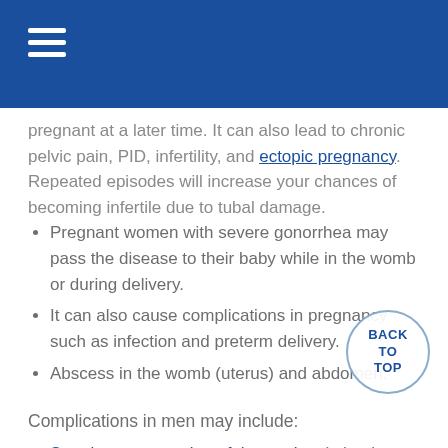pregnant at a later time. It can also lead to chronic pelvic pain, PID, infertility, and ectopic pregnancy. Repeated episodes will increase your chances of becoming infertile due to tubal damage.
Pregnant women with severe gonorrhea may pass the disease to their baby while in the womb or during delivery.
It can also cause complications in pregnancy such as infection and preterm delivery.
Abscess in the womb (uterus) and abdomen.
Complications in men may include:
Scarring or narrowing of the urethra (tube that carries urine out of the body)
Abscess (collection of pus around the urethra)